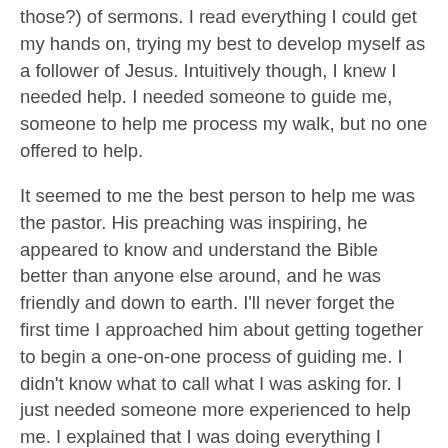those?) of sermons. I read everything I could get my hands on, trying my best to develop myself as a follower of Jesus. Intuitively though, I knew I needed help. I needed someone to guide me, someone to help me process my walk, but no one offered to help.
It seemed to me the best person to help me was the pastor. His preaching was inspiring, he appeared to know and understand the Bible better than anyone else around, and he was friendly and down to earth. I'll never forget the first time I approached him about getting together to begin a one-on-one process of guiding me. I didn't know what to call what I was asking for. I just needed someone more experienced to help me. I explained that I was doing everything I knew to do but still felt I needed someone to guide me along. For the first time I had ever seen it happen, the pastor was fumbling